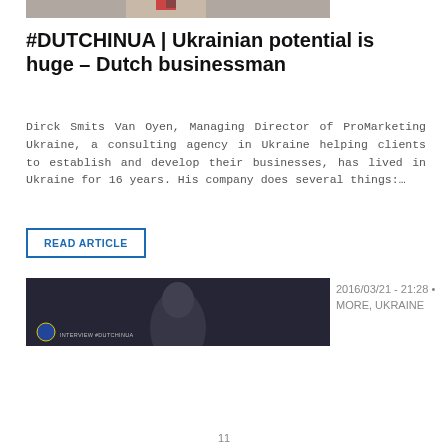[Figure (photo): Top portion of a photo showing a person, cropped]
#DUTCHINUA | Ukrainian potential is huge – Dutch businessman
Dirck Smits Van Oyen, Managing Director of ProMarketing Ukraine, a consulting agency in Ukraine helping clients to establish and develop their businesses, has lived in Ukraine for 16 years. His company does several things:...
READ ARTICLE
[Figure (photo): Video thumbnail showing a man from behind in a dark studio setting with a logo and text INTERVIEW #DUTCHINUA at the bottom]
2016/03/21 - 21:28 • MORE, UKRAINE
11